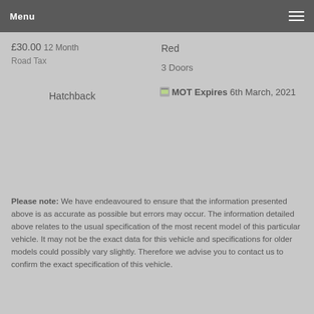Menu
£30.00 12 Month Road Tax
Red
3 Doors
Hatchback
MOT Expires 6th March, 2021
Please note: We have endeavoured to ensure that the information presented above is as accurate as possible but errors may occur. The information detailed above relates to the usual specification of the most recent model of this particular vehicle. It may not be the exact data for this vehicle and specifications for older models could possibly vary slightly. Therefore we advise you to contact us to confirm the exact specification of this vehicle.